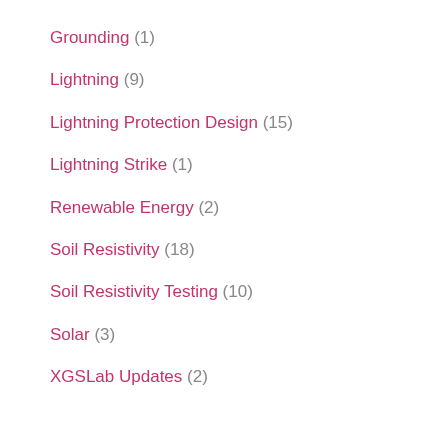Grounding (1)
Lightning (9)
Lightning Protection Design (15)
Lightning Strike (1)
Renewable Energy (2)
Soil Resistivity (18)
Soil Resistivity Testing (10)
Solar (3)
XGSLab Updates (2)